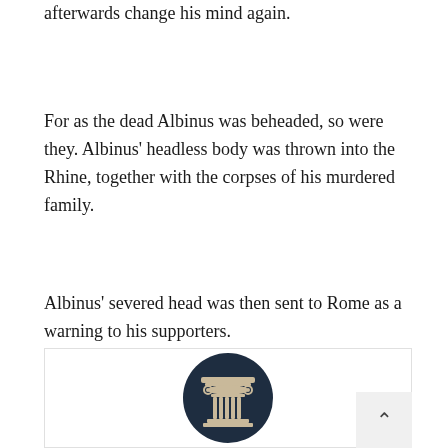afterwards change his mind again.
For as the dead Albinus was beheaded, so were they. Albinus' headless body was thrown into the Rhine, together with the corpses of his murdered family.
Albinus' severed head was then sent to Rome as a warning to his supporters.
[Figure (logo): Dark navy circular icon featuring a classical Ionic column capital with scrolls and vertical flutes, in a beige/tan color on a dark navy background.]